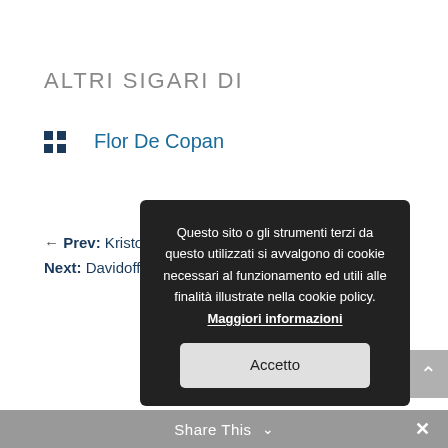ALTRI SIGARI DI
Flor De Copan
← Prev: Kristoff Corojo de Luxe Robusto
Next: Davidoff Gold Band Master Edition 2015
[Figure (screenshot): Cookie consent popup overlay with dark background. Text reads: Questo sito o gli strumenti terzi da questo utilizzati si avvalgono di cookie necessari al funzionamento ed utili alle finalità illustrate nella cookie policy. Maggiori informazioni. Button: Accetto]
Share This ∨  ✕